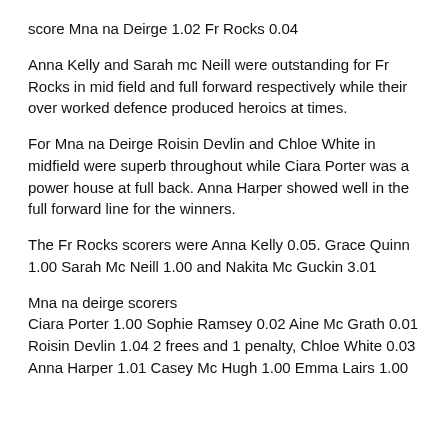score Mna na Deirge 1.02 Fr Rocks 0.04
Anna Kelly and Sarah mc Neill were outstanding for Fr Rocks in mid field and full forward respectively while their over worked defence produced heroics at times.
For Mna na Deirge Roisin Devlin and Chloe White in midfield were superb throughout while Ciara Porter was a power house at full back. Anna Harper showed well in the full forward line for the winners.
The Fr Rocks scorers were Anna Kelly 0.05. Grace Quinn 1.00 Sarah Mc Neill 1.00 and Nakita Mc Guckin 3.01
Mna na deirge scorers
Ciara Porter 1.00 Sophie Ramsey 0.02 Aine Mc Grath 0.01
Roisin Devlin 1.04 2 frees and 1 penalty, Chloe White 0.03
Anna Harper 1.01 Casey Mc Hugh 1.00 Emma Lairs 1.00